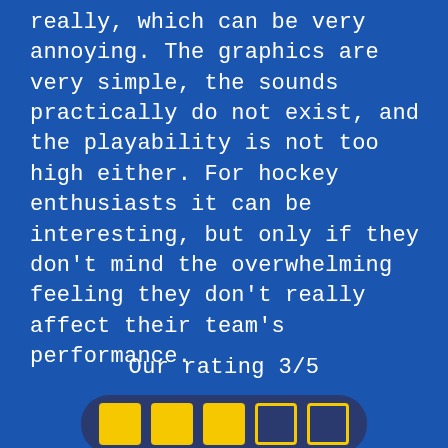really, which can be very annoying. The graphics are very simple, the sounds practically do not exist, and the playability is not too high either. For hockey enthusiasts it can be interesting, but only if they don't mind the overwhelming feeling they don't really affect their team's performance.
Our rating 3/5
[Figure (infographic): Rating indicator showing 3 out of 5 filled yellow squares and 2 empty yellow-outlined squares on a dark rounded rectangle background]